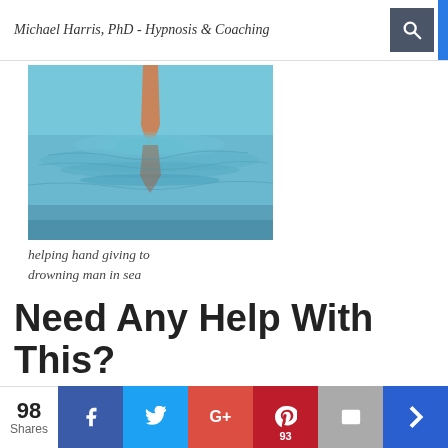Michael Harris, PhD - Hypnosis & Coaching
[Figure (photo): A hand or arm reaching up out of the water in the sea, suggesting a drowning person reaching for help. Blue-teal water with ripples visible.]
helping hand giving to drowning man in sea
Need Any Help With This?
If you ever need any assistance with an exercise or just have questions